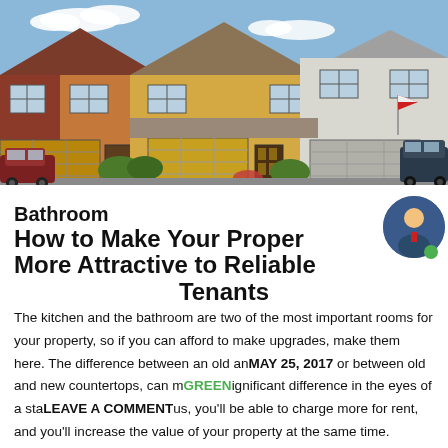[Figure (photo): Row of townhouses with garage doors, brick and wood siding, under a blue sky with trees and landscaping.]
Bathroom
How to Make Your Property More Attractive to Reliable Tenants
The kitchen and the bathroom are two of the most important rooms for your property, so if you can afford to make upgrades, make them here. The difference between an old and new floor, or between old and new countertops, can make a significant difference in the eyes of a stable, choosy tenant. Plus, you'll be able to charge more for rent, and you'll increase the value of your property at the same time. Kitchen and bathroom remodels can get expensive, but they'll be